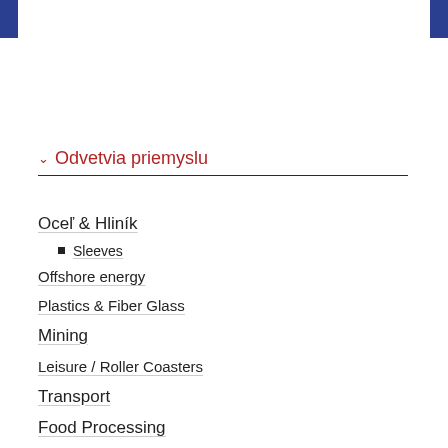Odvetvia priemyslu
Oceľ & Hliník
Sleeves
Offshore energy
Plastics & Fiber Glass
Mining
Leisure / Roller Coasters
Transport
Food Processing
Machine Construction
Recycling & Water Treatment